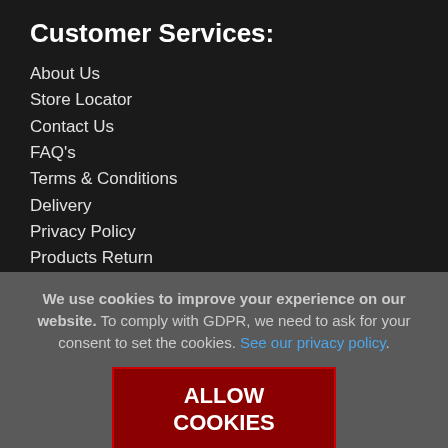Customer Services:
About Us
Store Locator
Contact Us
FAQ's
Terms & Conditions
Delivery
Privacy Policy
Products Return
Customer Reviews
We use cookies to improve your experience on our website. To comply with GDPR, we need to ask for your consent to set the cookies. See our privacy policy.
ALLOW COOKIES